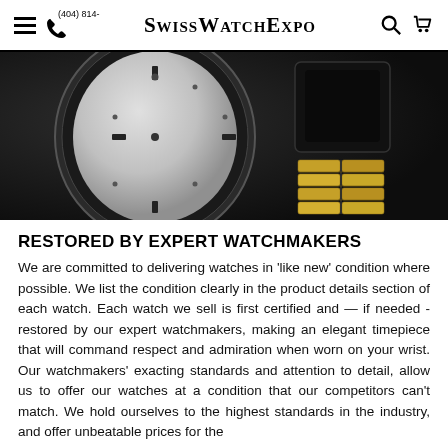SwissWatchExpo
[Figure (photo): Dark background photo showing watch components including a watch dial/face with hour markers and a gold/silver metal watch bracelet link]
RESTORED BY EXPERT WATCHMAKERS
We are committed to delivering watches in 'like new' condition where possible. We list the condition clearly in the product details section of each watch. Each watch we sell is first certified and — if needed - restored by our expert watchmakers, making an elegant timepiece that will command respect and admiration when worn on your wrist. Our watchmakers' exacting standards and attention to detail, allow us to offer our watches at a condition that our competitors can't match. We hold ourselves to the highest standards in the industry, and offer unbeatable prices for the